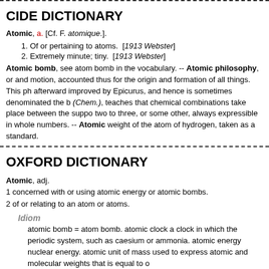CIDE DICTIONARY
Atomic, a. [Cf. F. atomique.].
1. Of or pertaining to atoms.  [1913 Webster]
2. Extremely minute; tiny.  [1913 Webster]
Atomic bomb, see atom bomb in the vocabulary. -- Atomic philosophy, or ... and motion, accounted thus for the origin and formation of all things. This ph... afterward improved by Epicurus, and hence is sometimes denominated the b... (Chem.), teaches that chemical combinations take place between the suppo... two to three, or some other, always expressible in whole numbers. -- Atomic weight of the atom of hydrogen, taken as a standard.
OXFORD DICTIONARY
Atomic, adj.
1 concerned with or using atomic energy or atomic bombs.
2 of or relating to an atom or atoms.
Idiom
atomic bomb = atom bomb. atomic clock a clock in which the periodic... system, such as caesium or ammonia. atomic energy nuclear energy. atomic... unit of mass used to express atomic and molecular weights that is equal to o...
Usage
Symb : Z, atomic particle any one of the particles of which an atom is...